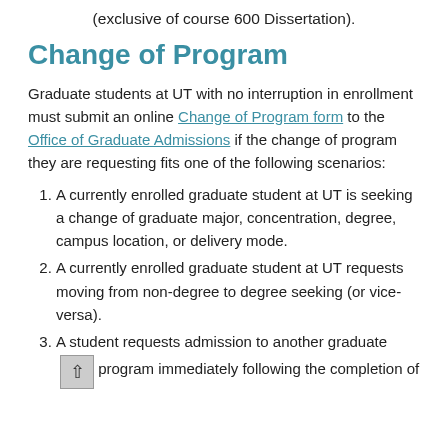(exclusive of course 600 Dissertation).
Change of Program
Graduate students at UT with no interruption in enrollment must submit an online Change of Program form to the Office of Graduate Admissions if the change of program they are requesting fits one of the following scenarios:
A currently enrolled graduate student at UT is seeking a change of graduate major, concentration, degree, campus location, or delivery mode.
A currently enrolled graduate student at UT requests moving from non-degree to degree seeking (or vice-versa).
A student requests admission to another graduate program immediately following the completion of